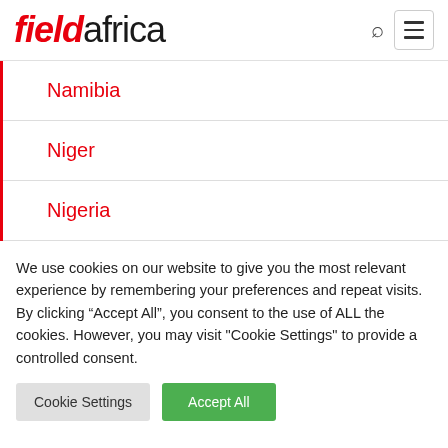fieldafrica
Namibia
Niger
Nigeria
We use cookies on our website to give you the most relevant experience by remembering your preferences and repeat visits. By clicking “Accept All”, you consent to the use of ALL the cookies. However, you may visit "Cookie Settings" to provide a controlled consent.
Cookie Settings | Accept All